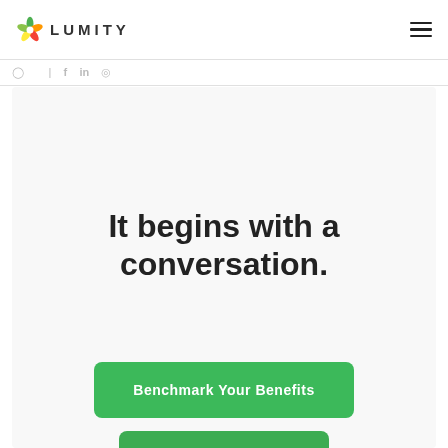LUMITY
[Figure (logo): Lumity logo with colorful star/flower icon and text LUMITY in spaced caps]
It begins with a conversation.
Benchmark Your Benefits
Request a Demo